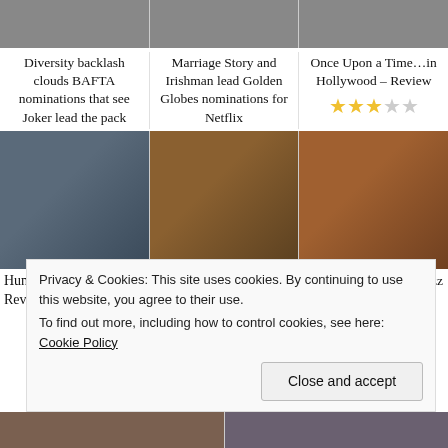[Figure (photo): Three thumbnail images side by side at top of page showing various scenes]
Diversity backlash clouds BAFTA nominations that see Joker lead the pack
Marriage Story and Irishman lead Golden Globes nominations for Netflix
Once Upon a Time…in Hollywood – Review ★★★☆☆
[Figure (photo): Three images: Academy Awards sign, concert/band performance, Tarantino Hollywood film still]
Hundreds more join
Yesterday – Review
Tarantino's Hollywood fizz added to Cannes competition line
Privacy & Cookies: This site uses cookies. By continuing to use this website, you agree to their use. To find out more, including how to control cookies, see here: Cookie Policy
Close and accept
[Figure (photo): Two thumbnail images at bottom of page]